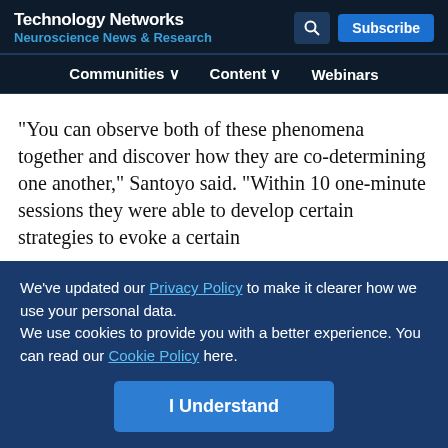Technology Networks — Neuroscience News & Research
Communities  Content  Webinars
"You can observe both of these phenomena together and discover how they are co-determining one another," Santoyo said. "Within 10 one-minute sessions they were able to develop certain strategies to evoke a certain
We've updated our Privacy Policy to make it clearer how we use your personal data.
We use cookies to provide you with a better experience. You can read our Cookie Policy here.
I Understand
Toward therapies
Advertisement
[Figure (infographic): Somalogic advertisement banner: 'Pioneer with 7,000 proteins' with somalogic logo]